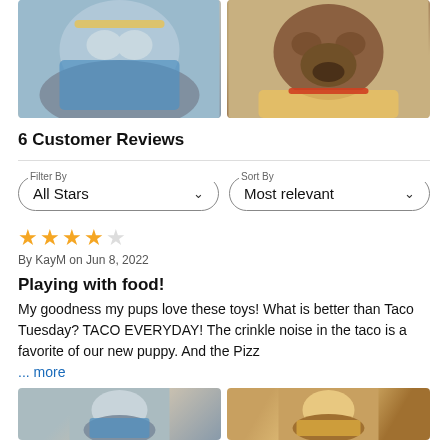[Figure (photo): Two photos of dogs in taco/food costumes. Left: a merle dog in a blue/taco outfit. Right: a brindle boxer-type dog in a taco outfit.]
6 Customer Reviews
Filter By: All Stars  |  Sort By: Most relevant
★★★★☆ By KayM on Jun 8, 2022
Playing with food!
My goodness my pups love these toys! What is better than Taco Tuesday? TACO EVERYDAY! The crinkle noise in the taco is a favorite of our new puppy. And the Pizz
... more
[Figure (photo): Two more photos of dogs at the bottom of the page.]